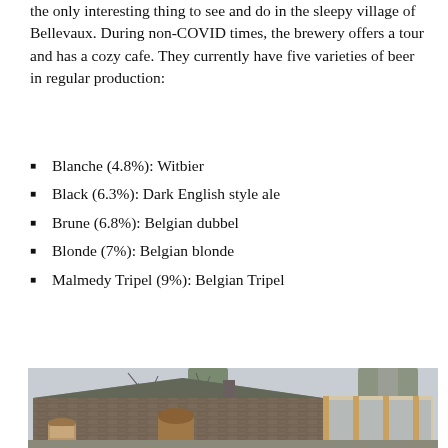the only interesting thing to see and do in the sleepy village of Bellevaux. During non-COVID times, the brewery offers a tour and has a cozy cafe. They currently have five varieties of beer in regular production:
Blanche (4.8%): Witbier
Black (6.3%): Dark English style ale
Brune (6.8%): Belgian dubbel
Blonde (7%): Belgian blonde
Malmedy Tripel (9%): Belgian Tripel
[Figure (photo): Exterior photo of a stone brewery building in Bellevaux. The building has a mossy slate roof, wooden doors and windows with brick arches, and a modern glass extension on the right side. Bare trees are visible in front and behind the building against an overcast sky.]